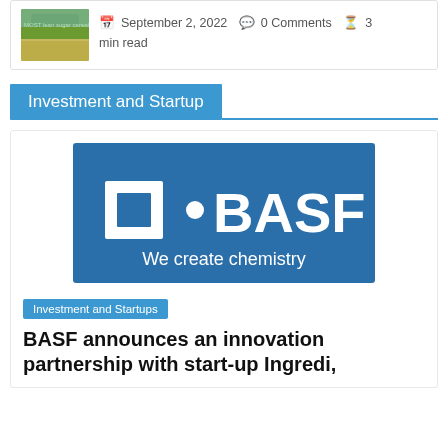[Figure (screenshot): Thumbnail image of an agricultural/grain product article with green and yellow tones showing crops]
September 2, 2022  0 Comments  3 min read
Investment and Startup
[Figure (logo): BASF logo on blue background with text 'We create chemistry']
Investment and Startups
BASF announces an innovation partnership with start-up Ingredi,